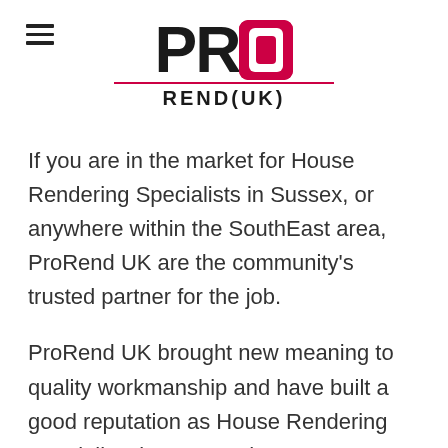[Figure (logo): PRO REND(UK) company logo with 'PRO' in large bold black text, 'O' replaced by a red rounded square icon, and 'REND(UK)' in bold black text below with a red underline]
If you are in the market for House Rendering Specialists in Sussex, or anywhere within the SouthEast area, ProRend UK are the community's trusted partner for the job.
ProRend UK brought new meaning to quality workmanship and have built a good reputation as House Rendering Specialists in Surrey where our company is based.